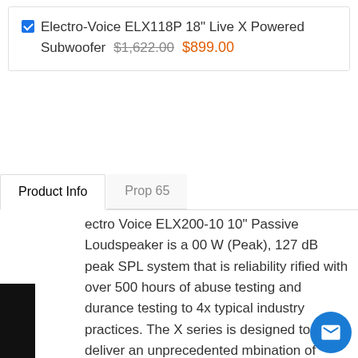Electro-Voice ELX118P 18" Live X Powered Subwoofer  $1,622.00  $899.00
Product Info | Prop 65
Electro Voice ELX200-10 10" Passive Loudspeaker is a 1000 W (Peak), 127 dB peak SPL system that is reliability verified with over 500 hours of abuse testing and endurance testing to 4x typical industry practices. The ELX series is designed to deliver an unprecedented combination of sound quality, portability and durability at price point. All-new custom components—tested to levels far exceeding the industry norm—make ELX200 a robust workhorse capable of handling real-world abuse and professional applications beyond the capability of competitors' products in its category.